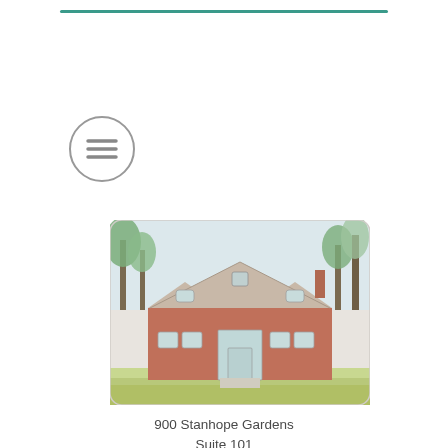[Figure (other): Hamburger menu icon — circle with three horizontal lines inside]
[Figure (photo): Photograph of a brick commercial building with a peaked roof, large windows, green trees in background, and a green lawn in front — appears to be a medical office building]
900 Stanhope Gardens
Suite 101
Chesapeake, VA 23320